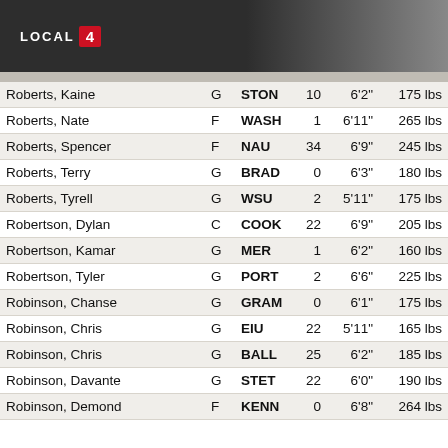LOCAL 4
| Name | Pos | School | # | Ht | Wt |
| --- | --- | --- | --- | --- | --- |
| Roberts, Kaine | G | STON | 10 | 6'2" | 175 lbs |
| Roberts, Nate | F | WASH | 1 | 6'11" | 265 lbs |
| Roberts, Spencer | F | NAU | 34 | 6'9" | 245 lbs |
| Roberts, Terry | G | BRAD | 0 | 6'3" | 180 lbs |
| Roberts, Tyrell | G | WSU | 2 | 5'11" | 175 lbs |
| Robertson, Dylan | C | COOK | 22 | 6'9" | 205 lbs |
| Robertson, Kamar | G | MER | 1 | 6'2" | 160 lbs |
| Robertson, Tyler | G | PORT | 2 | 6'6" | 225 lbs |
| Robinson, Chanse | G | GRAM | 0 | 6'1" | 175 lbs |
| Robinson, Chris | G | EIU | 22 | 5'11" | 165 lbs |
| Robinson, Chris | G | BALL | 25 | 6'2" | 185 lbs |
| Robinson, Davante | G | STET | 22 | 6'0" | 190 lbs |
| Robinson, Demond | F | KENN | 0 | 6'8" | 264 lbs |